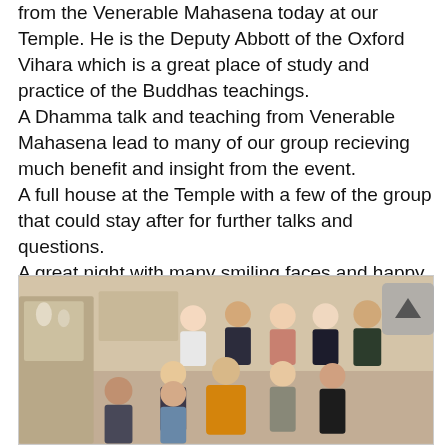from the Venerable Mahasena today at our Temple. He is the Deputy Abbott of the Oxford Vihara which is a great place of study and practice of the Buddhas teachings. A Dhamma talk and teaching from Venerable Mahasena lead to many of our group recieving much benefit and insight from the event. A full house at the Temple with a few of the group that could stay after for further talks and questions. A great night with many smiling faces and happy hearts!
[Figure (photo): Group photo inside a Buddhist temple. A monk in orange robes sits in the center surrounded by approximately 10 people, some seated on the floor in front, others standing behind.]